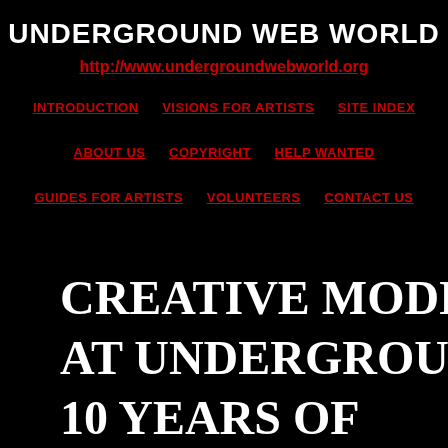UNDERGROUND WEB WORLD
http://www.undergroundwebworld.org
INTRODUCTION   VISIONS FOR ARTISTS   SITE INDEX
ABOUT US   COPYRIGHT   HELP WANTED
GUIDES FOR ARTISTS   VOLUNTEERS   CONTACT US
CREATIVE MODEL AT UNDERGROUND 10 YEARS OF